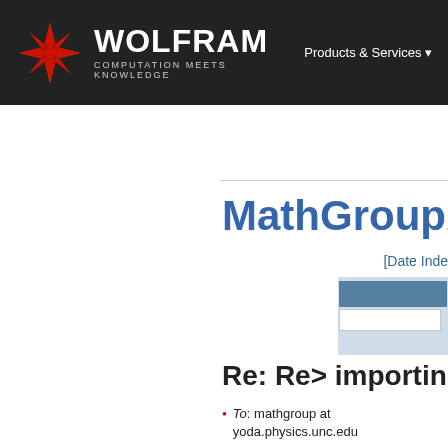WOLFRAM COMPUTATION MEETS KNOWLEDGE | Products & Services
MathGroup Archive
[Date Index]
Re: Re> importing PS files
To: mathgroup at yoda.physics.unc.edu
Subject: Re: Re> importing PS files
From: ross at macadam.mpce.mq.edu.au